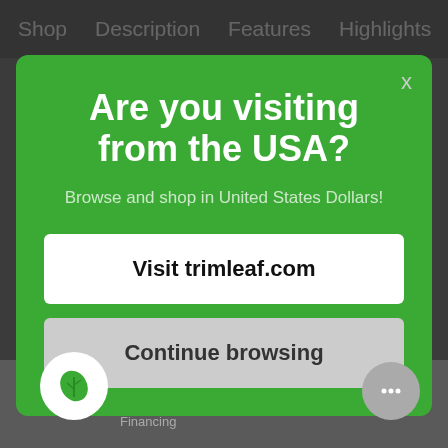Shop   Description   Features   Highlights   W
Are you visiting from the USA?
Browse and shop in United States Dollars!
Visit trimleaf.com
Continue browsing
Commercial Pricing
Custom
Financing